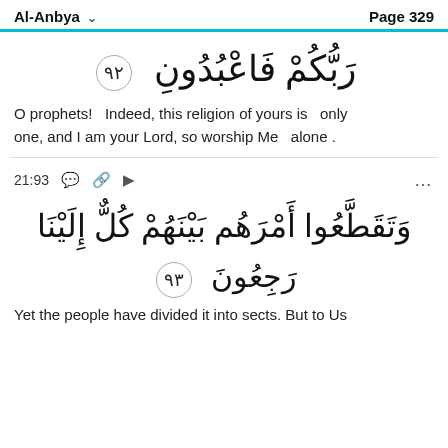Al-Anbya  Page 329
رَبُّكُمْ فَاعْبُدُونِ ٩٢
O prophets!  Indeed, this religion of yours is  only one, and I am your Lord, so worship Me  alone .
21:93
وَتَقَطَّعُوا أَمْرَهُم بَيْنَهُمْ كُلٌّ إِلَيْنَا رَجِعُونَ ٩٣
Yet the people have divided it into sects. But to Us